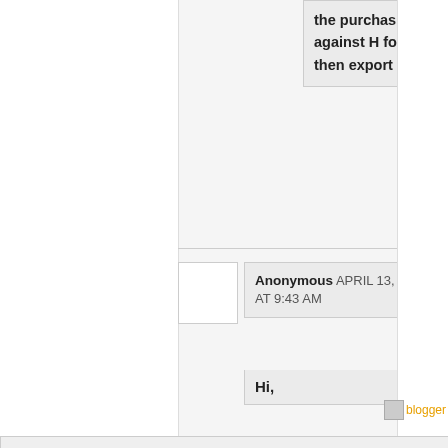the purchasing dealer against H form who will then export the goods
Reply
Anonymous APRIL 13, 2015 AT 9:43 AM
Hi,
Subscribe by Email Get Free Updates
Enter your Email Address
Subscribe
Don't Forget To Join US Our Community
blogger